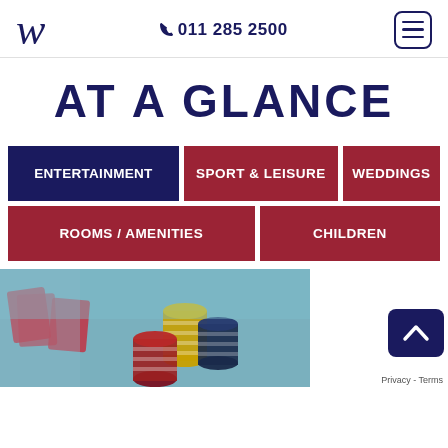W  011 285 2500  [menu icon]
AT A GLANCE
ENTERTAINMENT
SPORT & LEISURE
WEDDINGS
ROOMS / AMENITIES
CHILDREN
[Figure (photo): Casino chips stacked on a gaming table with cards]
Privacy - Terms